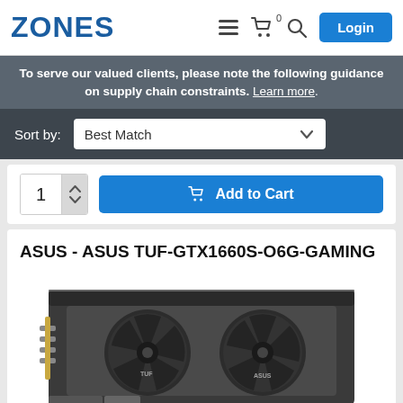ZONES
To serve our valued clients, please note the following guidance on supply chain constraints. Learn more.
Sort by: Best Match
1  Add to Cart
ASUS - ASUS TUF-GTX1660S-O6G-GAMING
[Figure (photo): ASUS TUF GTX 1660 Super graphics card with dual fans, dark gray/black color scheme]